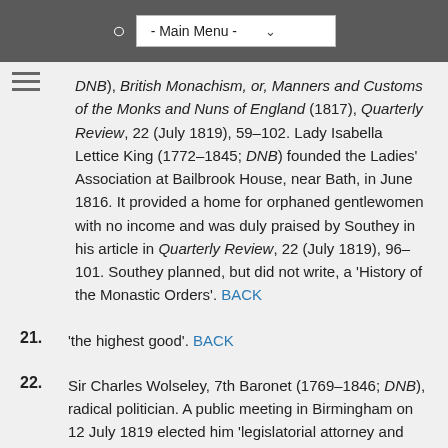- Main Menu -
DNB), British Monachism, or, Manners and Customs of the Monks and Nuns of England (1817), Quarterly Review, 22 (July 1819), 59–102. Lady Isabella Lettice King (1772–1845; DNB) founded the Ladies' Association at Bailbrook House, near Bath, in June 1816. It provided a home for orphaned gentlewomen with no income and was duly praised by Southey in his article in Quarterly Review, 22 (July 1819), 96–101. Southey planned, but did not write, a 'History of the Monastic Orders'. BACK
21. 'the highest good'. BACK
22. Sir Charles Wolseley, 7th Baronet (1769–1846; DNB), radical politician. A public meeting in Birmingham on 12 July 1819 elected him 'legislatorial attorney and representative' for the town and urged other unrepresented towns and cities to similarly elect their own representatives to the House of Commons. In April